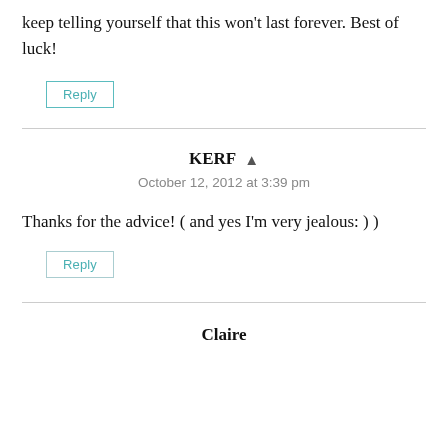keep telling yourself that this won't last forever. Best of luck!
Reply
KERF
October 12, 2012 at 3:39 pm
Thanks for the advice! ( and yes I'm very jealous: ) )
Reply
Claire